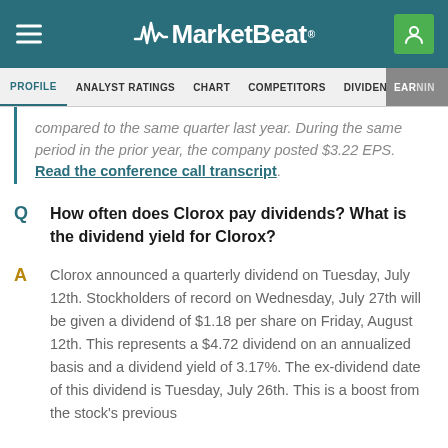MarketBeat
PROFILE  ANALYST RATINGS  CHART  COMPETITORS  DIVIDEND  EARNINGS
compared to the same quarter last year. During the same period in the prior year, the company posted $3.22 EPS. Read the conference call transcript.
Q  How often does Clorox pay dividends? What is the dividend yield for Clorox?
A  Clorox announced a quarterly dividend on Tuesday, July 12th. Stockholders of record on Wednesday, July 27th will be given a dividend of $1.18 per share on Friday, August 12th. This represents a $4.72 dividend on an annualized basis and a dividend yield of 3.17%. The ex-dividend date of this dividend is Tuesday, July 26th. This is a boost from the stock's previous